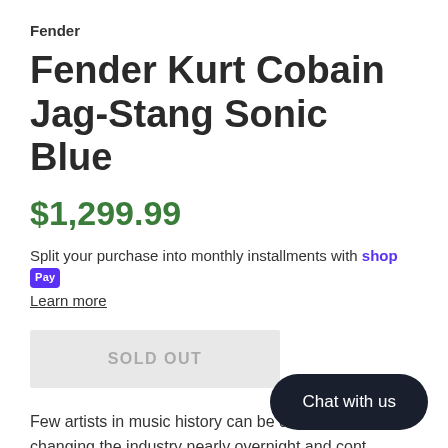Fender
Fender Kurt Cobain Jag-Stang Sonic Blue
$1,299.99
Split your purchase into monthly installments with shop Pay
Learn more
SOLD OUT
Few artists in music history can be credited with changing the industry nearly overnight and cont… music culture three decades after the h… popularity. Kurt Cobain and his bandmates in Nirvana